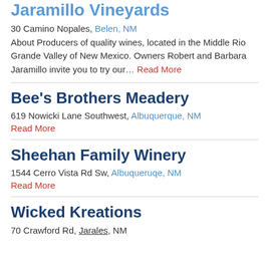Jaramillo Vineyards
30 Camino Nopales, Belen, NM
About Producers of quality wines, located in the Middle Rio Grande Valley of New Mexico. Owners Robert and Barbara Jaramillo invite you to try our… Read More
Bee's Brothers Meadery
619 Nowicki Lane Southwest, Albuquerque, NM
Read More
Sheehan Family Winery
1544 Cerro Vista Rd Sw, Albuqueruqe, NM
Read More
Wicked Kreations
70 Crawford Rd, Jarales, NM